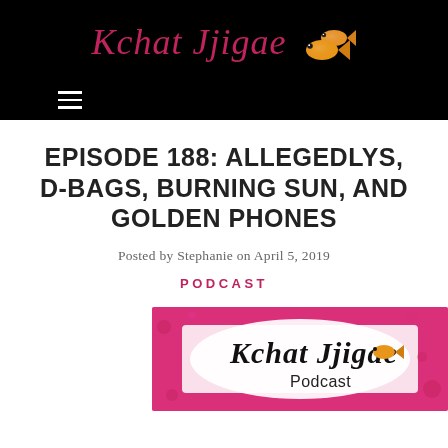Kchat Jjigae — site header with logo and navigation
EPISODE 188: ALLEGEDLYS, D-BAGS, BURNING SUN, AND GOLDEN PHONES
Posted by Stephanie on April 5, 2019
PODCAST
[Figure (logo): Kchat Jjigae Podcast logo — pink/magenta border with watercolor texture, black script text 'Kchat Jjigae' and smaller 'Podcast' text, with goldfish illustration]